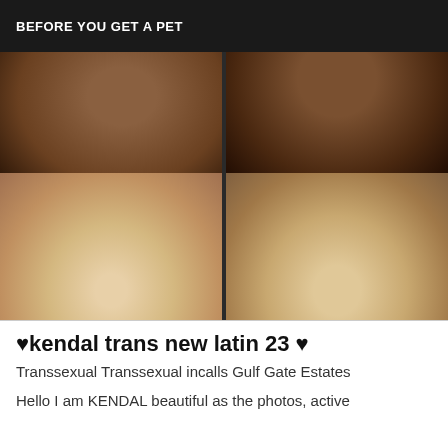BEFORE YOU GET A PET
[Figure (photo): Two side-by-side photos of a young woman]
♥kendal trans new latin 23 ♥
Transsexual Transsexual incalls Gulf Gate Estates
Hello I am KENDAL beautiful as the photos, active